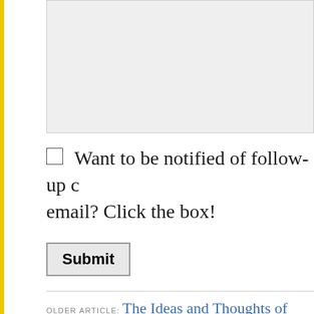[Figure (screenshot): A grey textarea input box (comment/text entry field), partially visible, cropped at top]
Want to be notified of follow-up comments by email? Click the box!
Submit
OLDER ARTICLE: The Ideas and Thoughts of One ... Forum on Homelessness in OB